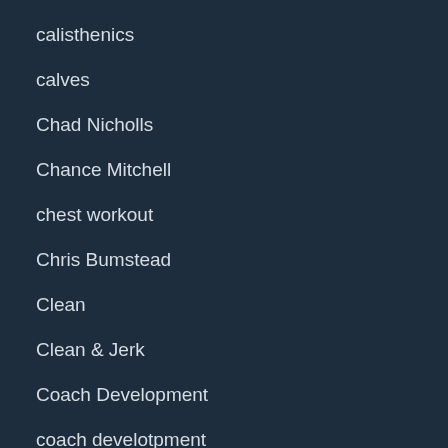calisthenics
calves
Chad Nicholls
Chance Mitchell
chest workout
Chris Bumstead
Clean
Clean & Jerk
Coach Development
coach develotpment
Coaches Only
coaching
Colton Mertens